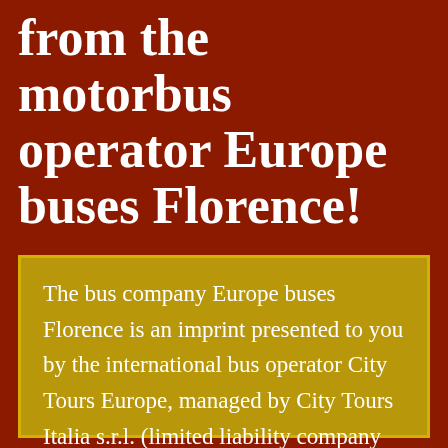from the motorbus operator Europe buses Florence!
The bus company Europe buses Florence is an imprint presented to you by the international bus operator City Tours Europe, managed by City Tours Italia s.r.l. (limited liability company with only one associate),